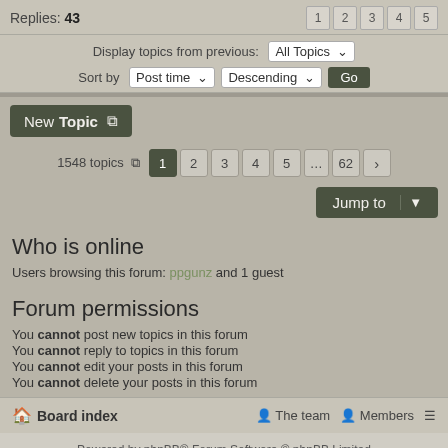Replies: 43
Display topics from previous: All Topics
Sort by: Post time | Descending | Go
New Topic
1548 topics  1 2 3 4 5 … 62 >
Jump to
Who is online
Users browsing this forum: ppgunz and 1 guest
Forum permissions
You cannot post new topics in this forum
You cannot reply to topics in this forum
You cannot edit your posts in this forum
You cannot delete your posts in this forum
Board index  The team  Members
Powered by phpBB® Forum Software © phpBB Limited
theHunter theme by Calle Gustafsson & Marcus Toumi by Expansive Worlds & David Mitchell
Based on Simplicity by Arty